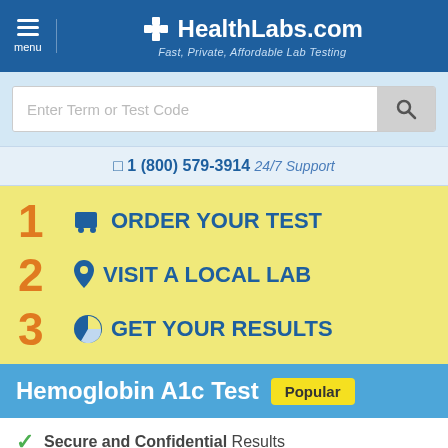HealthLabs.com — Fast, Private, Affordable Lab Testing
[Figure (screenshot): Search bar with placeholder text 'Enter Term or Test Code' and a magnifying glass search button]
1 (800) 579-3914  24/7 Support
1  ORDER YOUR TEST
2  VISIT A LOCAL LAB
3  GET YOUR RESULTS
Hemoglobin A1c Test  Popular
Secure and Confidential Results